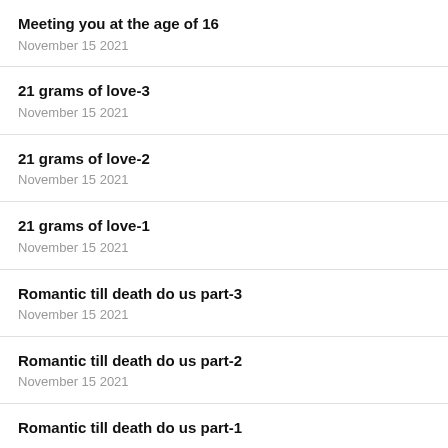Meeting you at the age of 16
November 15 2021
21 grams of love-3
November 15 2021
21 grams of love-2
November 15 2021
21 grams of love-1
November 15 2021
Romantic till death do us part-3
November 15 2021
Romantic till death do us part-2
November 15 2021
Romantic till death do us part-1